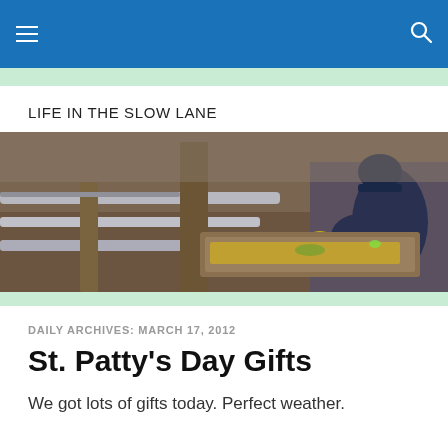Navigation bar with hamburger menu and search icon
LIFE IN THE SLOW LANE
[Figure (photo): A person in a dark jacket and blue hat leaning over a wooden fence structure, working with something yellow inside a wooden trough or bin. Outdoor ranch or farm setting with wooden posts visible.]
DAILY ARCHIVES: MARCH 17, 2012
St. Patty's Day Gifts
We got lots of gifts today. Perfect weather.